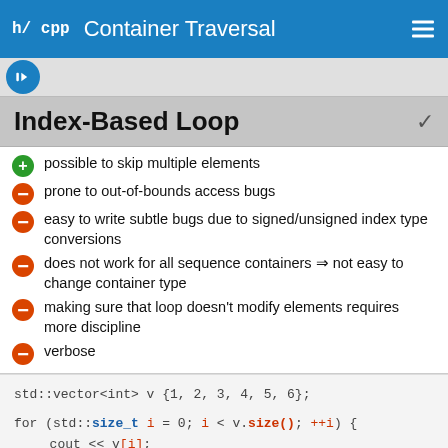h/cpp  Container Traversal
Index-Based Loop
possible to skip multiple elements
prone to out-of-bounds access bugs
easy to write subtle bugs due to signed/unsigned index type conversions
does not work for all sequence containers ⇒ not easy to change container type
making sure that loop doesn't modify elements requires more discipline
verbose
std::vector<int> v {1, 2, 3, 4, 5, 6};

for (std::size_t i = 0; i < v.size(); ++i) {
  cout << v[i];
}